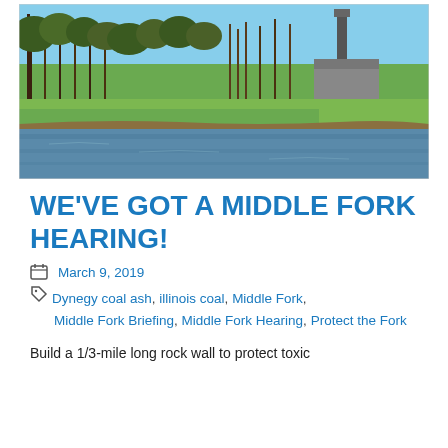[Figure (photo): River scene with trees on the bank and an industrial smokestack visible in the background under a blue sky. The Middle Fork river is shown with green vegetation along the banks and bare early-spring trees.]
WE'VE GOT A MIDDLE FORK HEARING!
March 9, 2019
Dynegy coal ash, illinois coal, Middle Fork, Middle Fork Briefing, Middle Fork Hearing, Protect the Fork
Build a 1/3-mile long rock wall to protect toxic